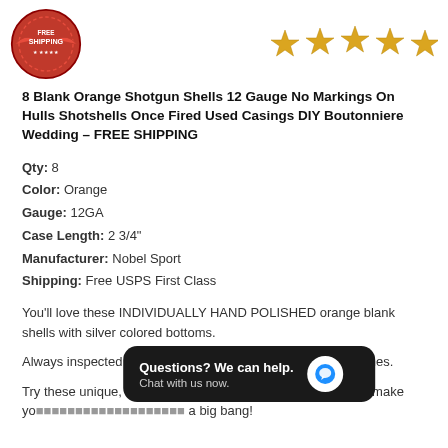[Figure (logo): Red circular FREE SHIPPING badge on left, five gold/orange stars on right]
8 Blank Orange Shotgun Shells 12 Gauge No Markings On Hulls Shotshells Once Fired Used Casings DIY Boutonniere Wedding – FREE SHIPPING
Qty: 8
Color: Orange
Gauge: 12GA
Case Length: 2 3/4"
Manufacturer: Nobel Sport
Shipping: Free USPS First Class
You'll love these INDIVIDUALLY HAND POLISHED orange blank shells with silver colored bottoms.
Always inspected for significant rust, dents, dings and scratches.
Try these unique, empty shotgun shells to make your next ammo crafting project a big bang!
[Figure (screenshot): Chat widget overlay: 'Questions? We can help. Chat with us now.' with blue chat bubble icon]